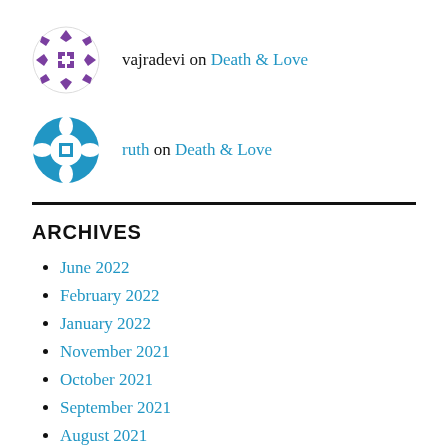vajradevi on Death & Love
ruth on Death & Love
ARCHIVES
June 2022
February 2022
January 2022
November 2021
October 2021
September 2021
August 2021